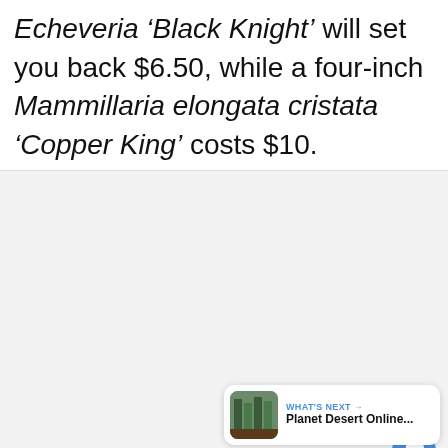Echeveria 'Black Knight' will set you back $6.50, while a four-inch Mammillaria elongata cristata 'Copper King' costs $10.
[Figure (photo): A light gray placeholder image area with a slideshow dot indicator and social interaction buttons (heart/like, share) and a 'What's Next' card showing Planet Desert Online...]